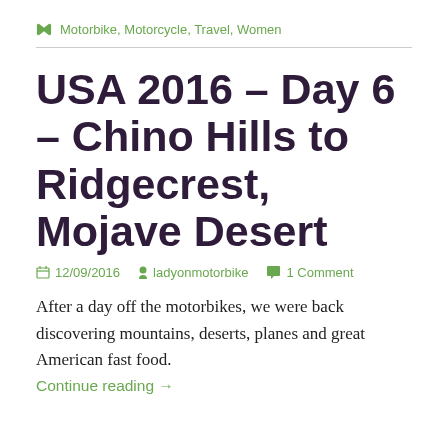Motorbike, Motorcycle, Travel, Women
USA 2016 – Day 6 – Chino Hills to Ridgecrest, Mojave Desert
12/09/2016   ladyonmotorbike   1 Comment
After a day off the motorbikes, we were back discovering mountains, deserts, planes and great American fast food.
Continue reading →